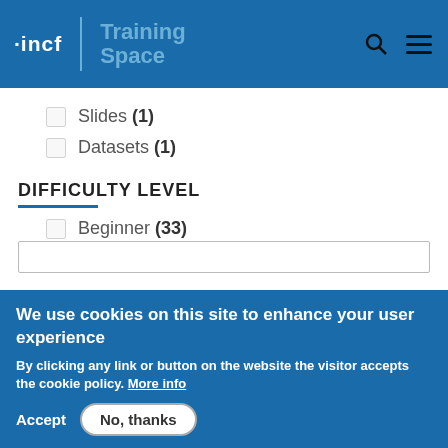incf | Training Space
Slides (1)
Datasets (1)
DIFFICULTY LEVEL
Beginner (33)
Intermediate (24) [checked]
We use cookies on this site to enhance your user experience
By clicking any link or button on the website the visitor accepts the cookie policy. More info
Accept  No, thanks